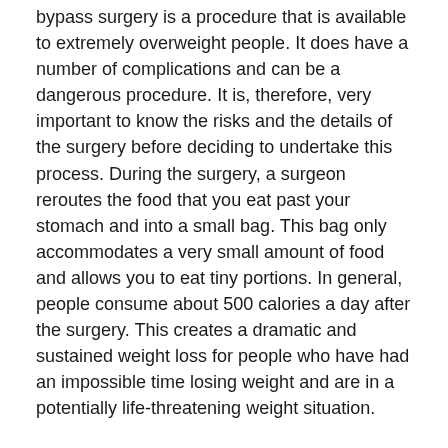bypass surgery is a procedure that is available to extremely overweight people. It does have a number of complications and can be a dangerous procedure. It is, therefore, very important to know the risks and the details of the surgery before deciding to undertake this process. During the surgery, a surgeon reroutes the food that you eat past your stomach and into a small bag. This bag only accommodates a very small amount of food and allows you to eat tiny portions. In general, people consume about 500 calories a day after the surgery. This creates a dramatic and sustained weight loss for people who have had an impossible time losing weight and are in a potentially life-threatening weight situation.
Obesity Surgery and Conception
When a woman is extremely overweight, she will often find that she doesn't ovulate at all, or that she doesn't ovulate